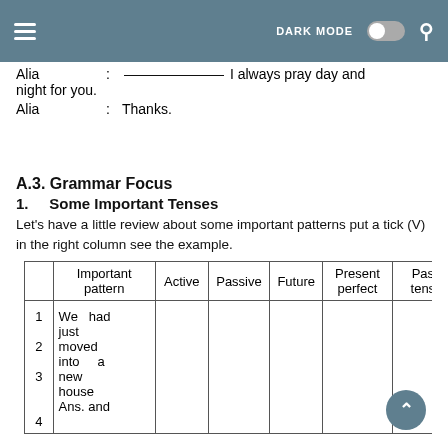DARK MODE [toggle] [search]
Alia : ____________ I always pray day and night for you.
Alia : Thanks.
A.3. Grammar Focus
1.    Some Important Tenses
Let's have a little review about some important patterns put a tick (V) in the right column see the example.
|  | Important pattern | Active | Passive | Future | Present perfect | Past tense |
| --- | --- | --- | --- | --- | --- | --- |
| 1 | We had just |  |  |  |  |  |
| 2 | moved |  |  |  |  |  |
| 3 | into a new |  |  |  |  |  |
| 4 | house Ans. and |  |  |  |  |  |